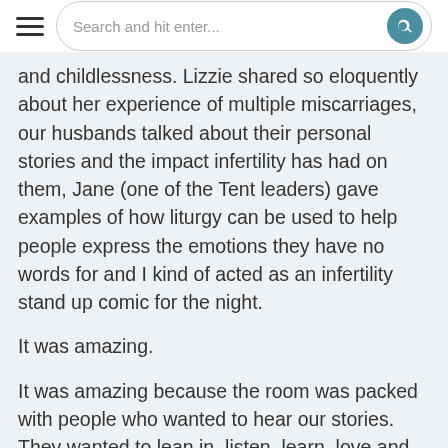Search and hit enter...
and childlessness. Lizzie shared so eloquently about her experience of multiple miscarriages, our husbands talked about their personal stories and the impact infertility has had on them, Jane (one of the Tent leaders) gave examples of how liturgy can be used to help people express the emotions they have no words for and I kind of acted as an infertility stand up comic for the night.
It was amazing.
It was amazing because the room was packed with people who wanted to hear our stories. They wanted to lean in, listen, learn, love and be different. The beauty of the night for me was that the room was filled with a